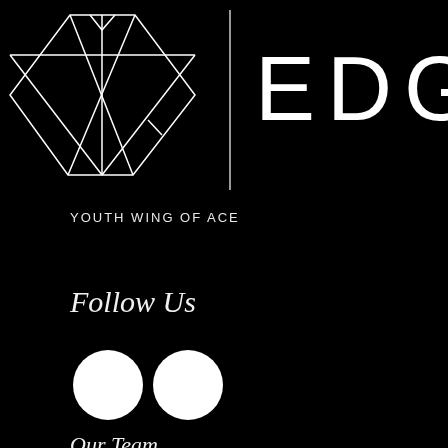[Figure (logo): EDGE logo: geometric diamond/gem shape outline in white on black background, with a vertical white line separator, and the word EDGE in large white spaced capital letters to the right]
YOUTH WING OF ACE
Follow Us
[Figure (other): Two white circles side by side representing social media icons]
Our Team